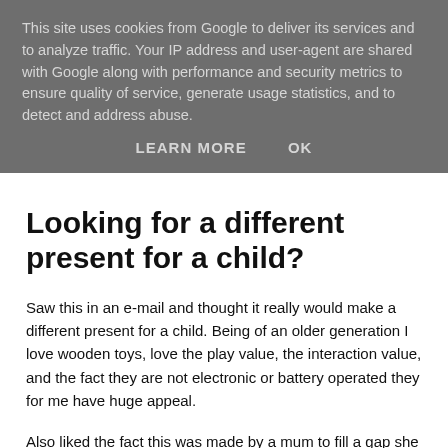This site uses cookies from Google to deliver its services and to analyze traffic. Your IP address and user-agent are shared with Google along with performance and security metrics to ensure quality of service, generate usage statistics, and to detect and address abuse.
LEARN MORE   OK
Looking for a different present for a child?
Saw this in an e-mail and thought it really would make a different present for a child. Being of an older generation I love wooden toys, love the play value, the interaction value, and the fact they are not electronic or battery operated they for me have huge appeal.
Also liked the fact this was made by a mum to fill a gap she saw in the market for an educational toy that will help children learn about the days, weeks and months in a logical circular form, not a flat form as in a calender that children